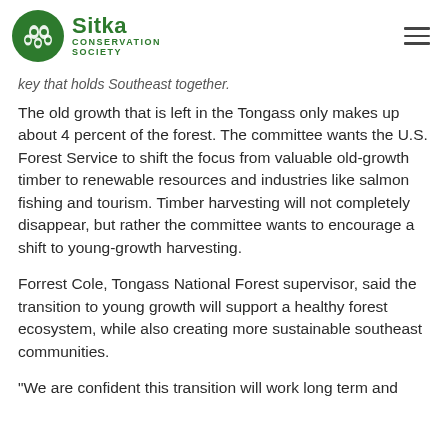Sitka Conservation Society
key that holds Southeast together.
The old growth that is left in the Tongass only makes up about 4 percent of the forest. The committee wants the U.S. Forest Service to shift the focus from valuable old-growth timber to renewable resources and industries like salmon fishing and tourism. Timber harvesting will not completely disappear, but rather the committee wants to encourage a shift to young-growth harvesting.
Forrest Cole, Tongass National Forest supervisor, said the transition to young growth will support a healthy forest ecosystem, while also creating more sustainable southeast communities.
"We are confident this transition will work long term and